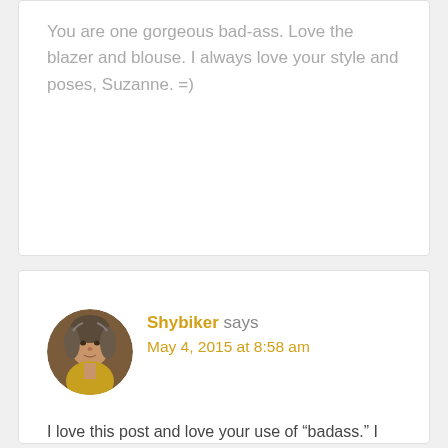You are one gorgeous bad-ass. Love the blazer and blouse. I always love your style and poses, Suzanne. =)
[Figure (photo): Circular avatar photo of a man with gray hair wearing a yellow collar, medium-dark complexion, blog comment avatar for user Shybiker]
Shybiker says
May 4, 2015 at 8:58 am
I love this post and love your use of “badass.” I bought a bunch of your cards with that fun design and sent them to my friends. My outfit would be a fit-and-flare dress, in pink of course, with a shorter hem than is socially appropriate. I want to make onlookers gasp in equal parts disdain and admiration. 🙂